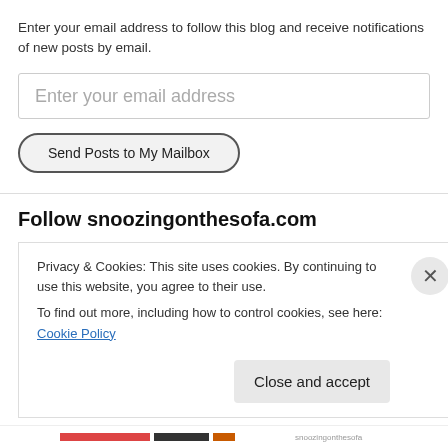Enter your email address to follow this blog and receive notifications of new posts by email.
Enter your email address
Send Posts to My Mailbox
Follow snoozingonthesofa.com
RSS - Posts
RSS - Comments
Privacy & Cookies: This site uses cookies. By continuing to use this website, you agree to their use.
To find out more, including how to control cookies, see here: Cookie Policy
Close and accept